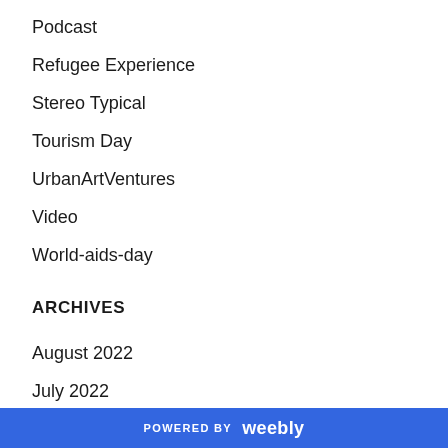Podcast
Refugee Experience
Stereo Typical
Tourism Day
UrbanArtVentures
Video
World-aids-day
ARCHIVES
August 2022
July 2022
June 2022
May 2022
April 2022
POWERED BY weebly